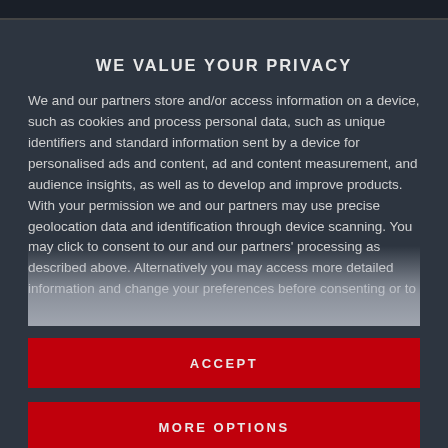WE VALUE YOUR PRIVACY
We and our partners store and/or access information on a device, such as cookies and process personal data, such as unique identifiers and standard information sent by a device for personalised ads and content, ad and content measurement, and audience insights, as well as to develop and improve products. With your permission we and our partners may use precise geolocation data and identification through device scanning. You may click to consent to our and our partners' processing as described above. Alternatively you may access more detailed information and change your preferences before consenting or to
ACCEPT
MORE OPTIONS